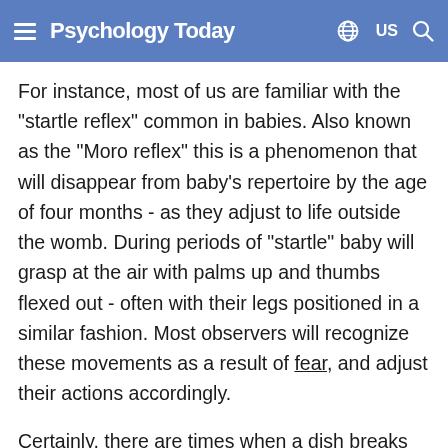Psychology Today
For instance, most of us are familiar with the "startle reflex" common in babies. Also known as the "Moro reflex" this is a phenomenon that will disappear from baby's repertoire by the age of four months - as they adjust to life outside the womb. During periods of "startle" baby will grasp at the air with palms up and thumbs flexed out - often with their legs positioned in a similar fashion. Most observers will recognize these movements as a result of fear, and adjust their actions accordingly.
Certainly, there are times when a dish breaks or a dog barks - and baby will be startled. Not much we can do about that. Yet it does make me worry